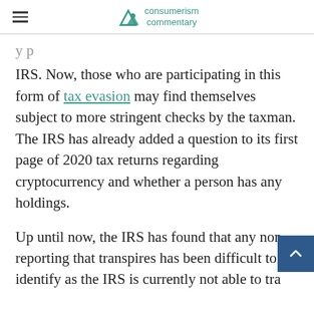consumerism commentary
IRS. Now, those who are participating in this form of tax evasion may find themselves subject to more stringent checks by the taxman. The IRS has already added a question to its first page of 2020 tax returns regarding cryptocurrency and whether a person has any holdings.
Up until now, the IRS has found that any non-reporting that transpires has been difficult to identify as the IRS is currently not able to track crypto income or any crypto transactions. As a result, some individuals do not pay tax on income that they receive. Furthermore, there have not